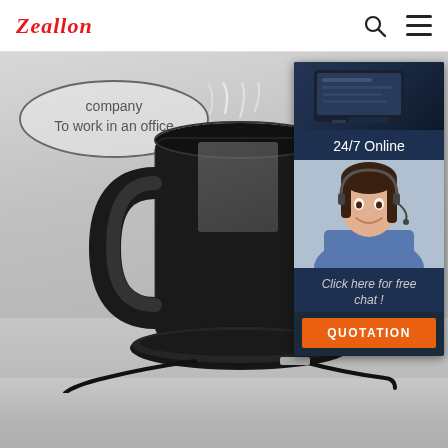Zeallon
[Figure (photo): Product photo of a black electric mug warmer with a black coffee mug sitting on a wireless charging pad/warmer base, steam rising from the mug, on a desk in an office setting. Speech bubble overlay reads 'company To work in an office'.]
[Figure (photo): Chat widget panel on the right showing '24/7 Online' with a smiling female customer service representative wearing a headset. Below: 'Click here for free chat!' with an orange QUOTATION button.]
company To work in an office
24/7 Online
Click here for free chat !
QUOTATION